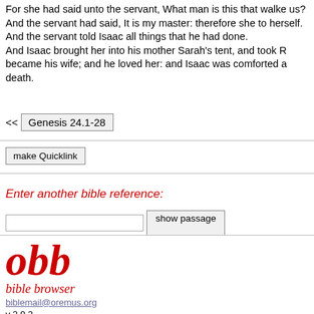For she had said unto the servant, What man is this that walke us? And the servant had said, It is my master: therefore she to herself.
And the servant told Isaac all things that he had done.
And Isaac brought her into his mother Sarah's tent, and took R became his wife; and he loved her: and Isaac was comforted a death.
<< Genesis 24.1-28
make Quicklink
Enter another bible reference:
show passage
[Figure (logo): obb bible browser logo in red italic serif font]
biblemail@oremus.org
v 2.9.2
30 June 2021